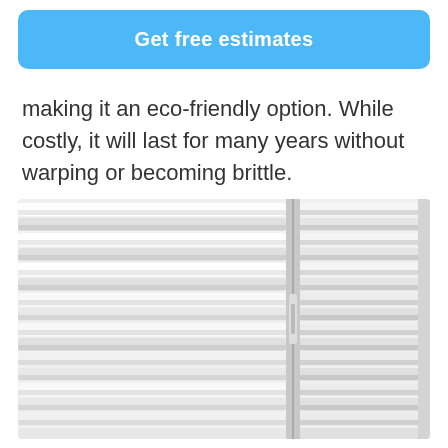Get free estimates
making it an eco-friendly option. While costly, it will last for many years without warping or becoming brittle.
[Figure (photo): Close-up photo of white horizontal window shutters/blinds arranged in panels, showing slanted louvers with light and shadow detail.]